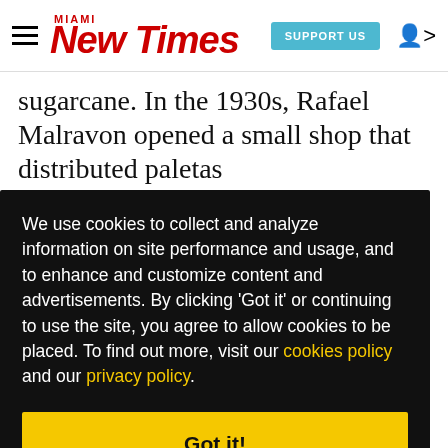Miami New Times | SUPPORT US
sugarcane. In the 1930s, Rafael Malravon opened a small shop that distributed paletas
We use cookies to collect and analyze information on site performance and usage, and to enhance and customize content and advertisements. By clicking 'Got it' or continuing to use the site, you agree to allow cookies to be placed. To find out more, visit our cookies policy and our privacy policy.
Got it!
hewy, op e like